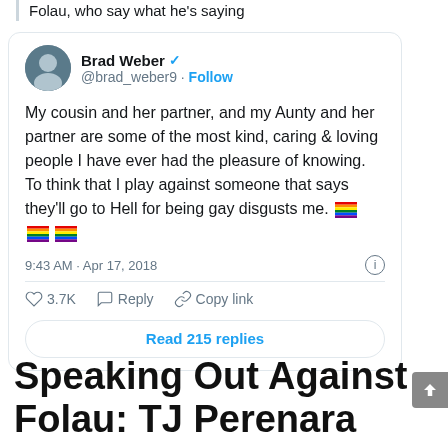Folau, who say what he's saying
[Figure (screenshot): Tweet from Brad Weber (@brad_weber9) with verified badge and Follow button. Tweet text: My cousin and her partner, and my Aunty and her partner are some of the most kind, caring & loving people I have ever had the pleasure of knowing. To think that I play against someone that says they'll go to Hell for being gay disgusts me. [rainbow flags]. Timestamp: 9:43 AM · Apr 17, 2018. Likes: 3.7K, Reply, Copy link. Read 215 replies button.]
Speaking Out Against Folau: TJ Perenara